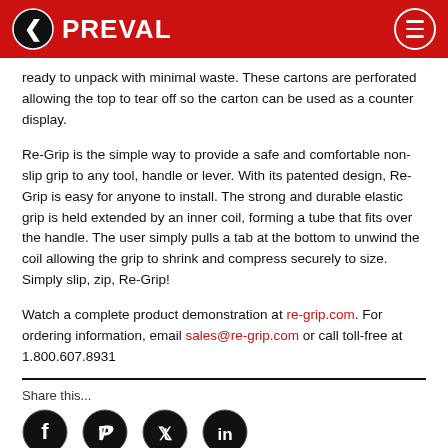PREVAL
ready to unpack with minimal waste. These cartons are perforated allowing the top to tear off so the carton can be used as a counter display.
Re-Grip is the simple way to provide a safe and comfortable non-slip grip to any tool, handle or lever. With its patented design, Re-Grip is easy for anyone to install. The strong and durable elastic grip is held extended by an inner coil, forming a tube that fits over the handle. The user simply pulls a tab at the bottom to unwind the coil allowing the grip to shrink and compress securely to size. Simply slip, zip, Re-Grip!
Watch a complete product demonstration at re-grip.com. For ordering information, email sales@re-grip.com or call toll-free at 1.800.607.8931
Share this...
[Figure (other): Social share icons: Facebook, Pinterest, Twitter, LinkedIn]
0 Votes